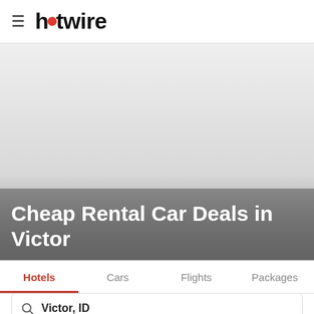≡ hotwire
[Figure (photo): Hero background image area showing a light gray gradient representing a scenic/travel photo placeholder for Cheap Rental Car Deals in Victor]
Cheap Rental Car Deals in Victor
Hotels | Cars | Flights | Packages
Victor, ID